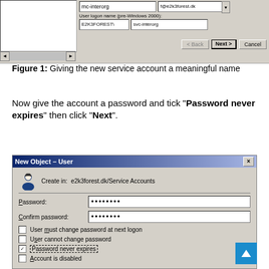[Figure (screenshot): Windows dialog screenshot showing user logon name fields with E2K3FOREST\ prefix and svc-interorg value, with Back, Next, Cancel buttons]
Figure 1: Giving the new service account a meaningful name
Now give the account a password and tick "Password never expires" then click "Next".
[Figure (screenshot): Windows New Object - User dialog showing password fields with dots, checkboxes for User must change password at next logon, User cannot change password, Password never expires (checked), Account is disabled]